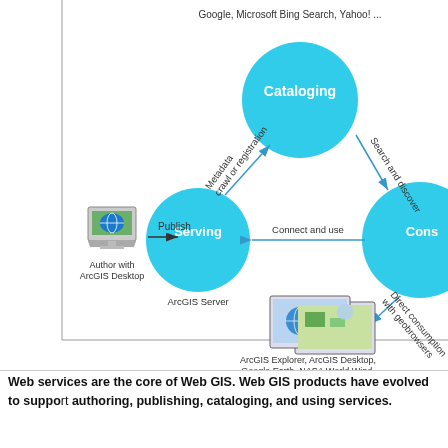[Figure (flowchart): A triangle-shaped network diagram showing the Web GIS workflow. Three cyan/teal circles represent 'Cataloging' (top center), 'Serving' (middle left), and 'Consuming' (right, partially cut off). Arrows connect them: 'Metadata crawl or registration' from Serving to Cataloging, 'Search and discover' from Cataloging to Consuming, 'Connect and use' from Consuming to Serving. A desktop computer labeled 'Author with ArcGIS Desktop' connects to Serving with 'Publish'. Below Consuming, 'Direct consumption with geobrowsers' points to screenshot images labeled 'ArcGIS Explorer, ArcGIS Desktop, Google Earth, NASA World Wind, OpenLayers viewer, Gaia ...'. At top: 'Google, Microsoft Bing Search, Yahoo! ...']
Web services are the core of Web GIS. Web GIS products have evolved to support authoring, publishing, cataloging, and using services.